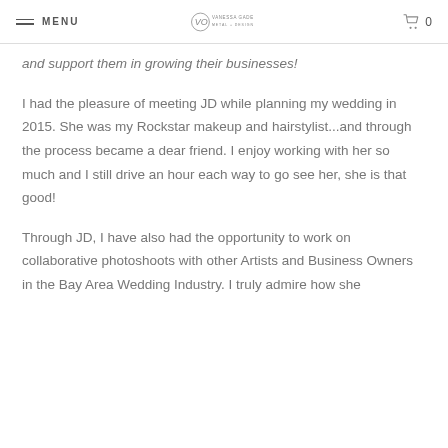MENU | VANESSA GADE METAL + DESIGN | 0
and support them in growing their businesses!
I had the pleasure of meeting JD while planning my wedding in 2015. She was my Rockstar makeup and hairstylist...and through the process became a dear friend. I enjoy working with her so much and I still drive an hour each way to go see her, she is that good!
Through JD, I have also had the opportunity to work on collaborative photoshoots with other Artists and Business Owners in the Bay Area Wedding Industry. I truly admire how she